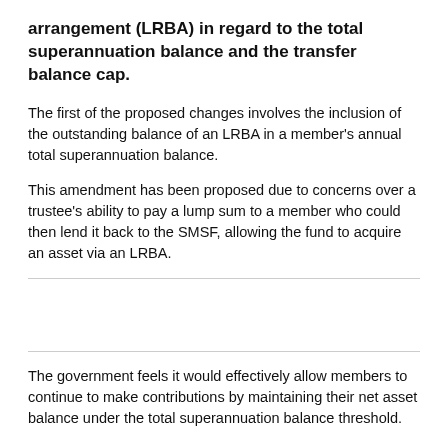arrangement (LRBA) in regard to the total superannuation balance and the transfer balance cap.
The first of the proposed changes involves the inclusion of the outstanding balance of an LRBA in a member's annual total superannuation balance.
This amendment has been proposed due to concerns over a trustee's ability to pay a lump sum to a member who could then lend it back to the SMSF, allowing the fund to acquire an asset via an LRBA.
The government feels it would effectively allow members to continue to make contributions by maintaining their net asset balance under the total superannuation balance threshold.